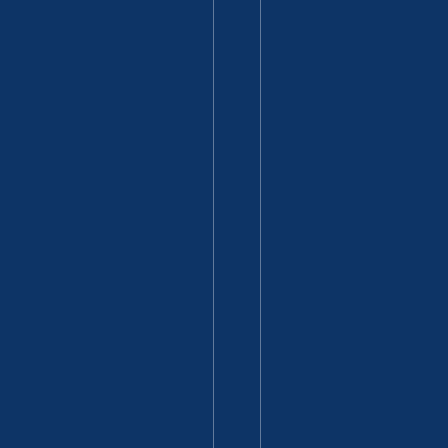l economy. But U.S. and allied polic